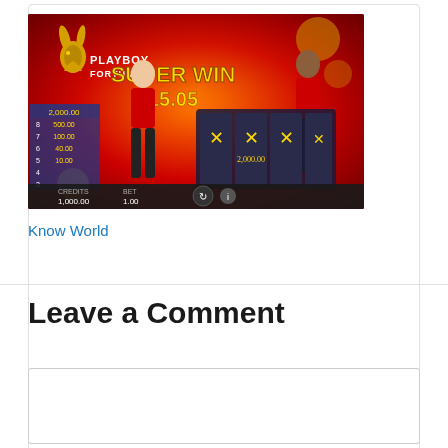[Figure (screenshot): Playboy Fortunes slot game screenshot showing SUPER WIN 15.05 with bunny symbols on reels, two female models in bunny costumes, and red background with fireworks. Paytable shows values from 2,000.00 down to lower amounts. Credits: 1,000.00, Bet: 1.00]
Know World
Leave a Comment